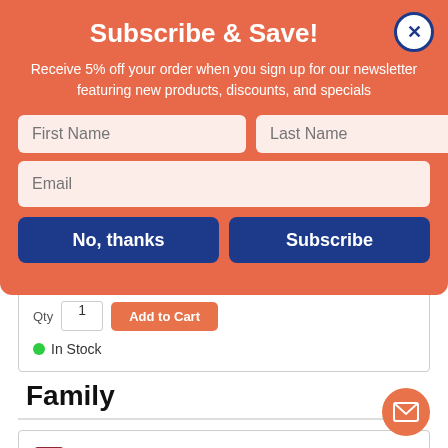Subscribe & Save!
Receive 5% off your order when you sign up for our newsletter featuring new products, discounts, and specials
First Name | Last Name | Email (input fields)
No, thanks | Subscribe (buttons)
Qty  1  Add to Cart
● In Stock
Family
Olson Stacker High Density Chair, Supports up to 300 lbs, Mult...